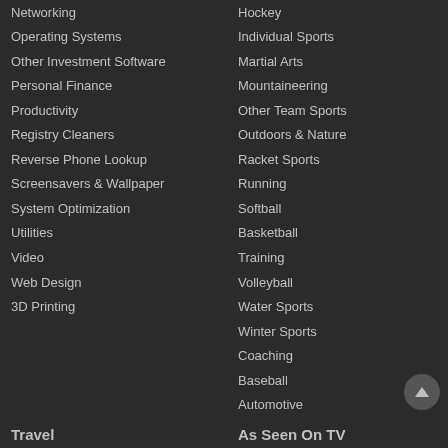Networking
Operating Systems
Other Investment Software
Personal Finance
Productivity
Registry Cleaners
Reverse Phone Lookup
Screensavers & Wallpaper
System Optimization
Utilities
Video
Web Design
3D Printing
Hockey
Individual Sports
Martial Arts
Mountaineering
Other Team Sports
Outdoors & Nature
Racket Sports
Running
Softball
Basketball
Training
Volleyball
Water Sports
Winter Sports
Coaching
Baseball
Automotive
Travel
As Seen On TV